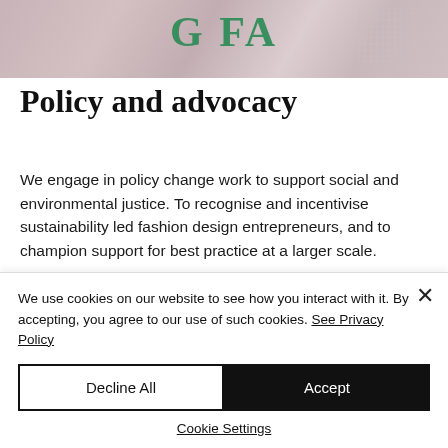[Figure (photo): Partial image of a fashion-related scene with pink/mauve tones and green text overlay reading 'G FA' (partial text cut off)]
Policy and advocacy
We engage in policy change work to support social and environmental justice. To recognise and incentivise sustainability led fashion design entrepreneurs, and to champion support for best practice at a larger scale.
We use cookies on our website to see how you interact with it. By accepting, you agree to our use of such cookies. See Privacy Policy
Decline All
Accept
Cookie Settings